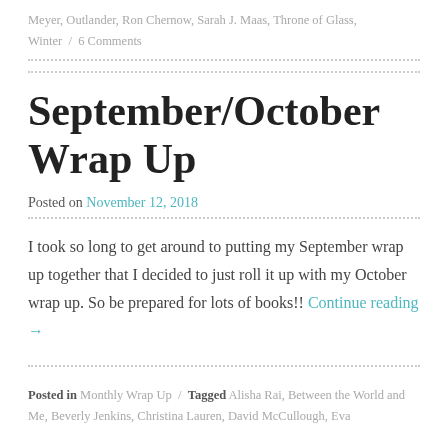Meyer, Outlander, Ron Chernow, Sarah J. Maas, Throne of Glass, Winter / 6 Comments
September/October Wrap Up
Posted on November 12, 2018
I took so long to get around to putting my September wrap up together that I decided to just roll it up with my October wrap up. So be prepared for lots of books!! Continue reading →
Posted in Monthly Wrap Up / Tagged Alisha Rai, Between the World and Me, Beverly Jenkins, Christina Lauren, David McCullough, Eva